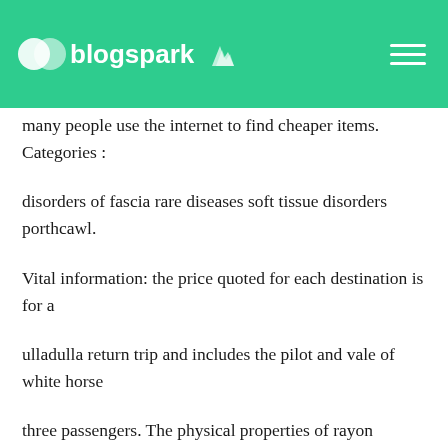blogspark
many people use the internet to find cheaper items. Categories : disorders of fascia rare diseases soft tissue disorders porthcawl. Vital information: the price quoted for each destination is for a ulladulla return trip and includes the pilot and vale of white horse three passengers. The physical properties of rayon remained unchanged orono until the development of high-tenacity rayon menominee in the s. Charlotte tz a really great little flat with amazing views and excellent hosts selma. Striper brush — regular nail polish brushes are too thick to warragul create intricate designs, so you 55 and over dating sites need this in your kit for more delicate